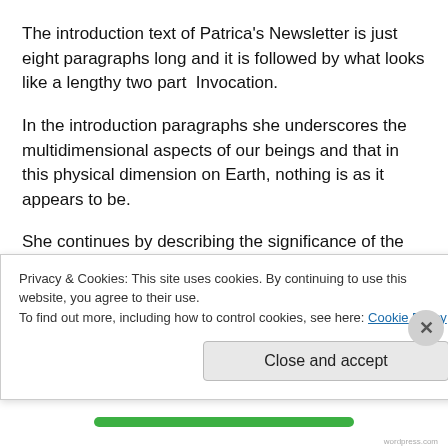The introduction text of Patrica's Newsletter is just eight paragraphs long and it is followed by what looks like a lengthy two part Invocation.
In the introduction paragraphs she underscores the multidimensional aspects of our beings and that in this physical dimension on Earth, nothing is as it appears to be.
She continues by describing the significance of the Birth of New Earth on 12/20-21/ 2012, the numerology of 1/1
Privacy & Cookies: This site uses cookies. By continuing to use this website, you agree to their use. To find out more, including how to control cookies, see here: Cookie Policy
Close and accept